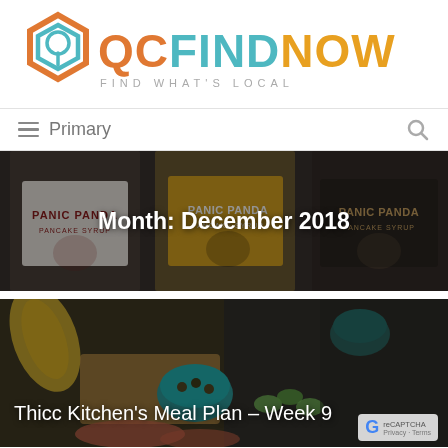[Figure (logo): QCFindNow logo with hexagon icon and text 'QCFINDNOW - FIND WHAT'S LOCAL']
≡ Primary
[Figure (photo): Three bottles of Panic Panda Pancake Syrup arranged side by side on a surface]
Month: December 2018
[Figure (photo): A charcuterie board with olives, chips, cucumber slices, and other snacks in teal bowls]
Thicc Kitchen's Meal Plan – Week 9